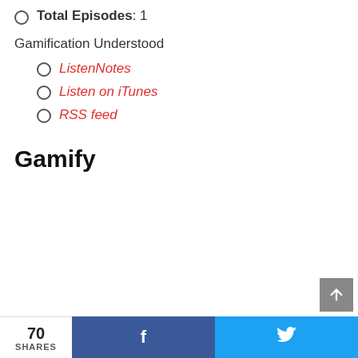Total Episodes: 1
Gamification Understood
ListenNotes
Listen on iTunes
RSS feed
Gamify
70 SHARES   f   (twitter bird)